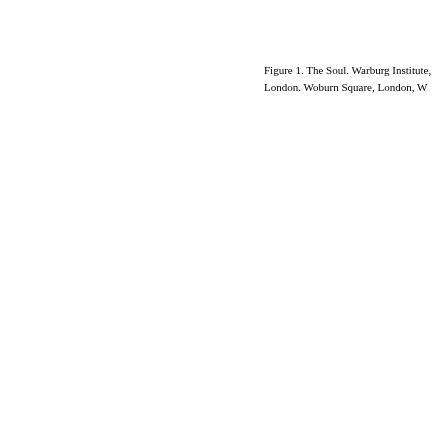Figure 1. The Soul. Warburg Institute, London. Woburn Square, London, W